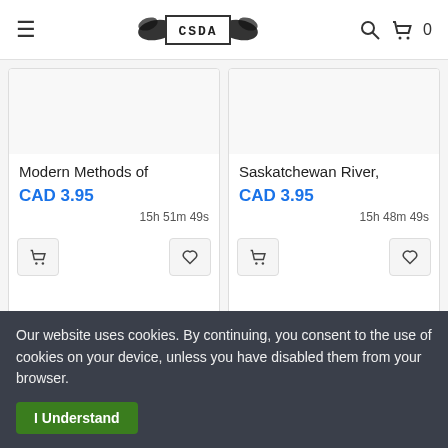≡  CSDA  🔍 🛒 0
Modern Methods of
CAD 3.95
15h 51m 49s
Saskatchewan River,
CAD 3.95
15h 48m 49s
[Figure (photo): Postcard image placeholder top-left]
[Figure (photo): Postcard image placeholder top-right]
Our website uses cookies. By continuing, you consent to the use of cookies on your device, unless you have disabled them from your browser.
I Understand